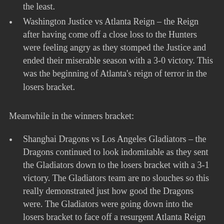the least.
Washington Justice vs Atlanta Reign – the Reign after having come off a close loss to the Hunters were feeling angry as they stomped the Justice and ended their miserable season with a 3-0 victory. This was the beginning of Atlanta's reign of terror in the losers bracket.
Meanwhile in the winners bracket:
Shanghai Dragons vs Los Angeles Gladiators – the Dragons continued to look indomitable as they sent the Gladiators down to the losers bracket with a 3-1 victory. The Gladiators team are no slouches so this really demonstrated just how good the Dragons were. The Gladiators were going down into the losers bracket to face off a resurgent Atlanta Reign
Chengdu Hunters vs Dallas Fuel – despite the best